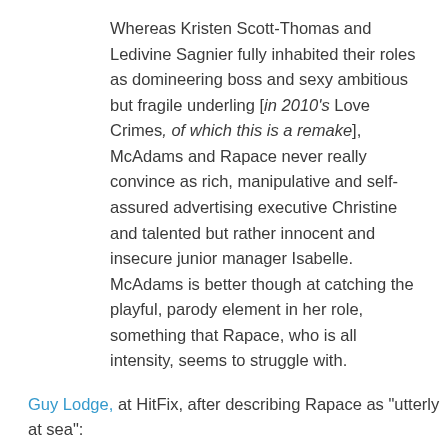Whereas Kristen Scott-Thomas and Ledivine Sagnier fully inhabited their roles as domineering boss and sexy ambitious but fragile underling [in 2010's Love Crimes, of which this is a remake], McAdams and Rapace never really convince as rich, manipulative and self-assured advertising executive Christine and talented but rather innocent and insecure junior manager Isabelle. McAdams is better though at catching the playful, parody element in her role, something that Rapace, who is all intensity, seems to struggle with.
Guy Lodge, at HitFix, after describing Rapace as "utterly at sea":
No less strangely cast is McAdams, years too young to possess this dragon-in-heels role with the coolly unimpressed swagger of Kristin Scott Thomas. Still, if she seems to be playing dress-up in several scenes, at least she's playing: she deserves a more responsive scene partner when